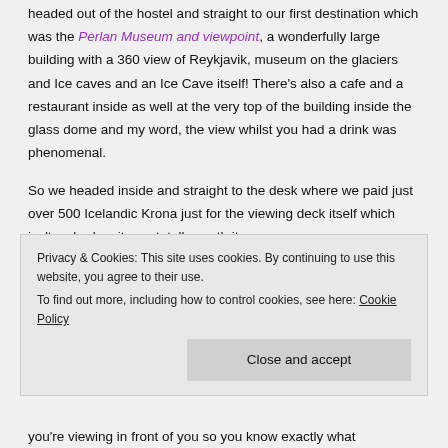headed out of the hostel and straight to our first destination which was the Perlan Museum and viewpoint, a wonderfully large building with a 360 view of Reykjavik, museum on the glaciers and Ice caves and an Ice Cave itself! There's also a cafe and a restaurant inside as well at the very top of the building inside the glass dome and my word, the view whilst you had a drink was phenomenal.
So we headed inside and straight to the desk where we paid just over 500 Icelandic Krona just for the viewing deck itself which isn't so bad as it was totally worth it.
The view really was 360, we could see the coastline, the city centre Reykjavik, the crater itself and the surrounding...
Privacy & Cookies: This site uses cookies. By continuing to use this website, you agree to their use. To find out more, including how to control cookies, see here: Cookie Policy
you're viewing in front of you so you know exactly what